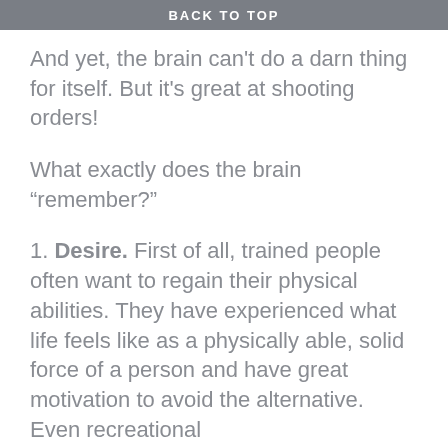BACK TO TOP
And yet, the brain can't do a darn thing for itself. But it's great at shooting orders!
What exactly does the brain “remember?”
1. Desire. First of all, trained people often want to regain their physical abilities. They have experienced what life feels like as a physically able, solid force of a person and have great motivation to avoid the alternative. Even recreational